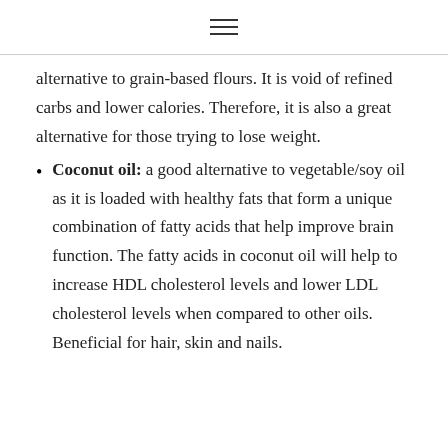≡
alternative to grain-based flours. It is void of refined carbs and lower calories. Therefore, it is also a great alternative for those trying to lose weight.
Coconut oil: a good alternative to vegetable/soy oil as it is loaded with healthy fats that form a unique combination of fatty acids that help improve brain function. The fatty acids in coconut oil will help to increase HDL cholesterol levels and lower LDL cholesterol levels when compared to other oils. Beneficial for hair, skin and nails.